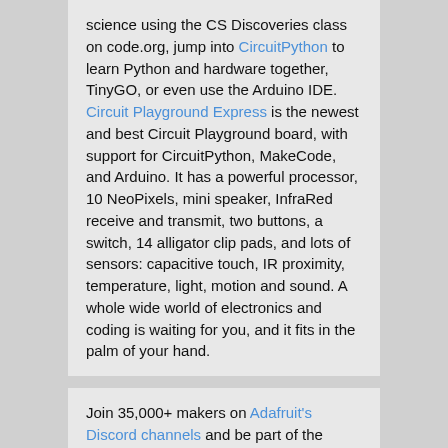science using the CS Discoveries class on code.org, jump into CircuitPython to learn Python and hardware together, TinyGO, or even use the Arduino IDE. Circuit Playground Express is the newest and best Circuit Playground board, with support for CircuitPython, MakeCode, and Arduino. It has a powerful processor, 10 NeoPixels, mini speaker, InfraRed receive and transmit, two buttons, a switch, 14 alligator clip pads, and lots of sensors: capacitive touch, IR proximity, temperature, light, motion and sound. A whole wide world of electronics and coding is waiting for you, and it fits in the palm of your hand.
Join 35,000+ makers on Adafruit's Discord channels and be part of the community! http://adafru.it/discord
Have an amazing project to share? The Electronics Show and Tell is every Wednesday at 7pm ET! To join, head over to YouTube and check out the show's live chat